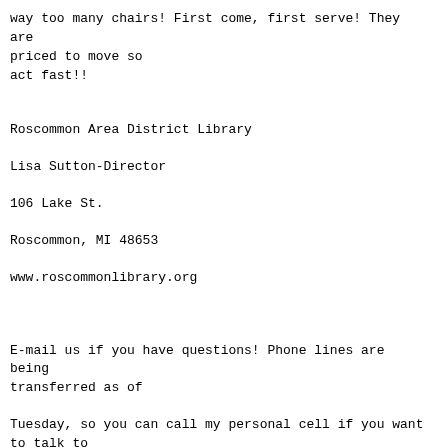way too many chairs! First come, first serve! They are priced to move so
act fast!!
Roscommon Area District Library
Lisa Sutton-Director
106 Lake St.
Roscommon, MI 48653
www.roscommonlibrary.org
E-mail us if you have questions! Phone lines are being transferred as of
Tuesday, so you can call my personal cell if you want to talk to
us (989)387-0460.
-------------- next part --------------
An HTML attachment was scrubbed...
URL: <http://mail3.mcls.org/pipermail/michlib-1/attachments/20140215/80cb44a7/attachment.html>